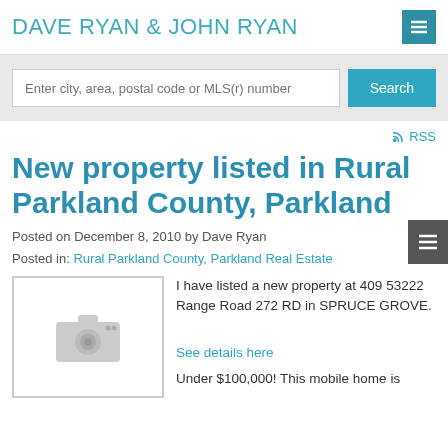DAVE RYAN & JOHN RYAN
Enter city, area, postal code or MLS(r) number
RSS
New property listed in Rural Parkland County, Parkland
Posted on December 8, 2010 by Dave Ryan
Posted in: Rural Parkland County, Parkland Real Estate
[Figure (photo): Placeholder camera icon image for property listing]
I have listed a new property at 409 53222 Range Road 272 RD in SPRUCE GROVE.

See details here

Under $100,000! This mobile home is